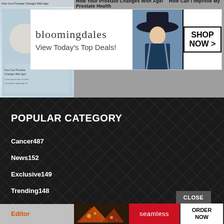How Your Prostate Changes With Age!    How Can I Improve My Prostate Health
[Figure (screenshot): Bloomingdales advertisement banner with logo, tagline 'View Today's Top Deals!', model wearing hat, and SHOP NOW button]
[Figure (screenshot): Article preview image with thumbnail showing medical/health content about prostate]
POPULAR CATEGORY
Cancer487
News152
Exclusive149
Trending148
Popular143
Must Read142
Facts141
Editor
[Figure (screenshot): Seamless food delivery advertisement with pizza image, seamless logo, and ORDER NOW button]
CLOSE